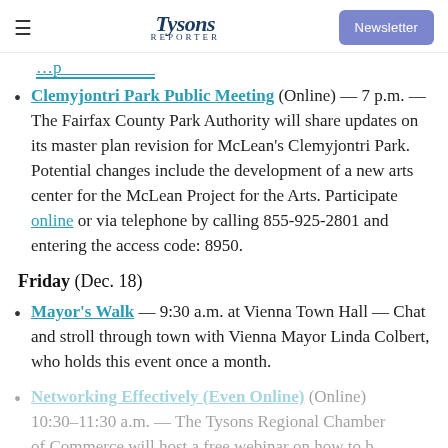Tysons Reporter | Newsletter
[truncated link at top]
Clemyjontri Park Public Meeting (Online) — 7 p.m. — The Fairfax County Park Authority will share updates on its master plan revision for McLean's Clemyjontri Park. Potential changes include the development of a new arts center for the McLean Project for the Arts. Participate online or via telephone by calling 855-925-2801 and entering the access code: 8950.
Friday (Dec. 18)
Mayor's Walk — 9:30 a.m. at Vienna Town Hall — Chat and stroll through town with Vienna Mayor Linda Colbert, who holds this event once a month.
Networking Effectively (Even Online) (Online) 10:30–11:30 a.m. — The Tysons Regional Chamber of Commerce will host a free webinar on how to build...